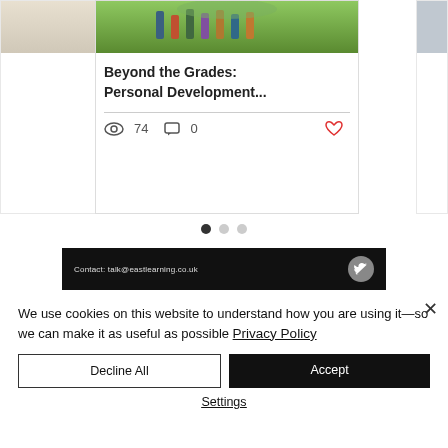[Figure (screenshot): Blog card with outdoor group photo showing people standing on grass with hills, titled 'Beyond the Grades: Personal Development...' with 74 views, 0 comments, and a heart icon]
Beyond the Grades: Personal Development...
74 0
[Figure (infographic): Pagination dots: one filled dark dot and two light gray dots]
Contact: talk@eastlearning.co.uk
We use cookies on this website to understand how you are using it—so we can make it as useful as possible Privacy Policy
Decline All
Accept
Settings